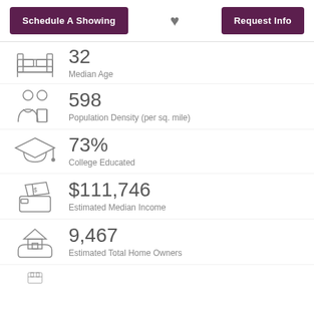Schedule A Showing | [heart] | Request Info
32 — Median Age
598 — Population Density (per sq. mile)
73% — College Educated
$111,746 — Estimated Median Income
9,467 — Estimated Total Home Owners